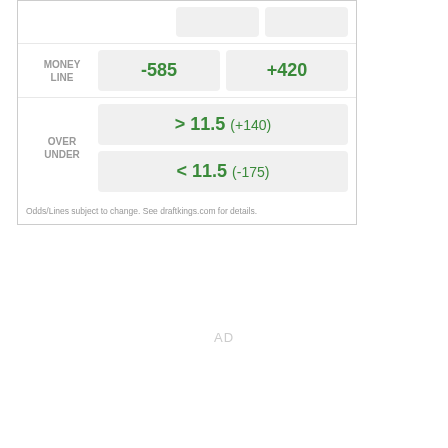|  | Team 1 | Team 2 |
| --- | --- | --- |
| MONEY LINE | -585 | +420 |
| OVER UNDER | > 11.5 (+140) | < 11.5 (-175) |
Odds/Lines subject to change. See draftkings.com for details.
AD